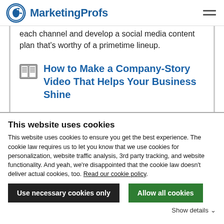MarketingProfs
each channel and develop a social media content plan that's worthy of a primetime lineup.
How to Make a Company-Story Video That Helps Your Business Shine
This website uses cookies
This website uses cookies to ensure you get the best experience. The cookie law requires us to let you know that we use cookies for personalization, website traffic analysis, 3rd party tracking, and website functionality. And yeah, we're disappointed that the cookie law doesn't deliver actual cookies, too. Read our cookie policy.
Use necessary cookies only
Allow all cookies
Show details